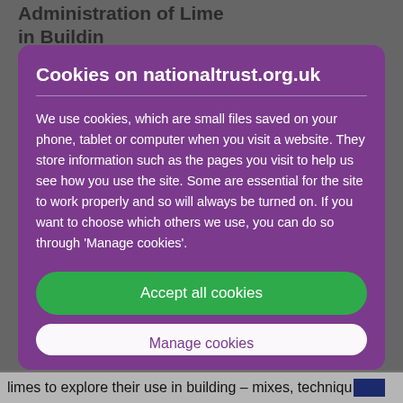Cookies on nationaltrust.org.uk
We use cookies, which are small files saved on your phone, tablet or computer when you visit a website. They store information such as the pages you visit to help us see how you use the site. Some are essential for the site to work properly and so will always be turned on. If you want to choose which others we use, you can do so through 'Manage cookies'.
Accept all cookies
limes to explore their use in building – mixes, techniqu